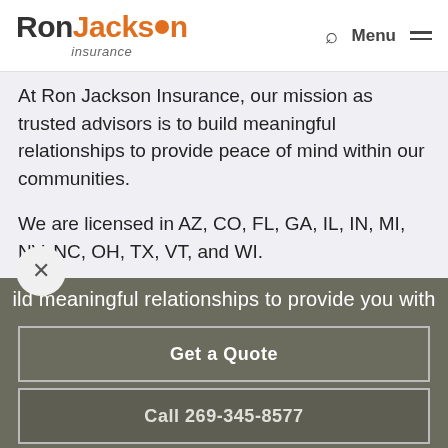Ron Jackson Insurance — Menu
At Ron Jackson Insurance, our mission as trusted advisors is to build meaningful relationships to provide peace of mind within our communities.
We are licensed in AZ, CO, FL, GA, IL, IN, MI, NV, NC, OH, TX, VT, and WI.
© 2022 Ron Jackson Insurance | Powered by Forge3 ActiveAgency | All rights
ild meaningful relationships to provide you with
Get a Quote
Call 269-345-8577